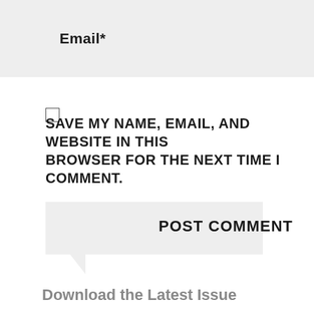Email*
SAVE MY NAME, EMAIL, AND WEBSITE IN THIS BROWSER FOR THE NEXT TIME I COMMENT.
POST COMMENT
Download the Latest Issue